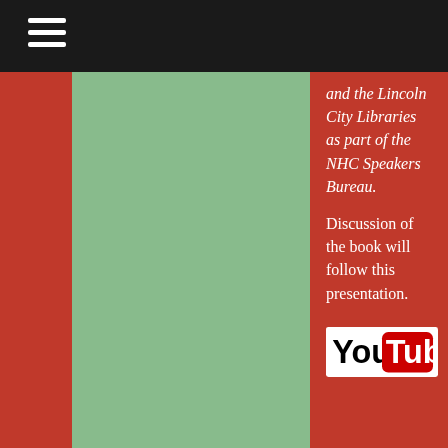and the Lincoln City Libraries as part of the NHC Speakers Bureau.
Discussion of the book will follow this presentation.
[Figure (logo): YouTube logo]
"Buried in Books" was videotaped on October 12th, and is now available for viewing via the Lincoln City Libraries' YouTube account. Visit this page for more information and to view the program.
TALES FROM THE TOPIARY
Sunday, October 19 2008, 2:00 p.m.
Anderson Branch Library